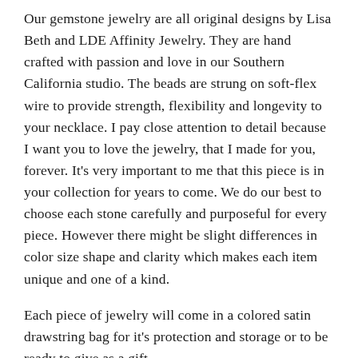Our gemstone jewelry are all original designs by Lisa Beth and LDE Affinity Jewelry. They are hand crafted with passion and love in our Southern California studio. The beads are strung on soft-flex wire to provide strength, flexibility and longevity to your necklace. I pay close attention to detail because I want you to love the jewelry, that I made for you, forever. It's very important to me that this piece is in your collection for years to come. We do our best to choose each stone carefully and purposeful for every piece. However there might be slight differences in color size shape and clarity which makes each item unique and one of a kind.
Each piece of jewelry will come in a colored satin drawstring bag for it's protection and storage or to be ready to give as a gift.
WE WANT TO THANK YOU FOR TAKING THE TIME TO